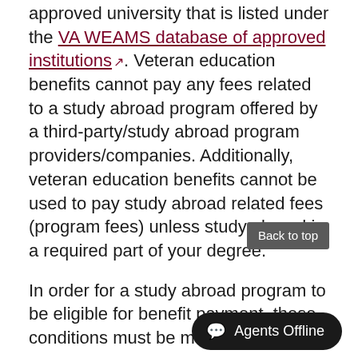approved university that is listed under the VA WEAMS database of approved institutions. Veteran education benefits cannot pay any fees related to a study abroad program offered by a third-party/study abroad program providers/companies. Additionally, veteran education benefits cannot be used to pay study abroad related fees (program fees) unless study abroad is a required part of your degree.
In order for a study abroad program to be eligible for benefit payment, these conditions must be met:
Study abroad programs must be approved for payment by the VA (UMN Faculty-led program or at a University listed on the VA WEAMS database).
Students must be enrolled in courses related to their degree program.